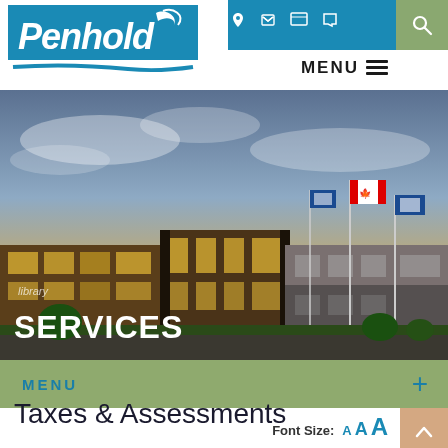[Figure (logo): Penhold municipality logo in white script on teal/blue background header]
[Figure (photo): Municipal building with flags (Canadian flag, Alberta flags) against a dramatic sky at dusk, with trees and parking area]
library
SERVICES
MENU +
Font Size: A A A
Taxes & Assessments